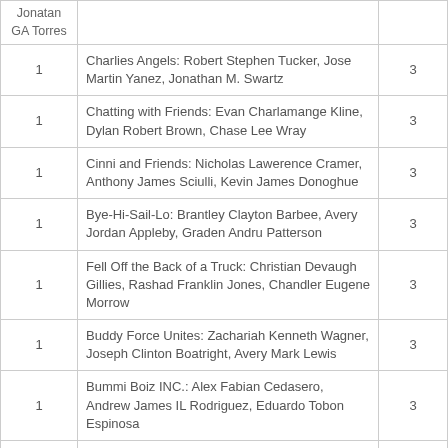| 1 | Charlies Angels: Robert Stephen Tucker, Jose Martin Yanez, Jonathan M. Swartz | 3 |
| 1 | Chatting with Friends: Evan Charlamange Kline, Dylan Robert Brown, Chase Lee Wray | 3 |
| 1 | Cinni and Friends: Nicholas Lawerence Cramer, Anthony James Sciulli, Kevin James Donoghue | 3 |
| 1 | Bye-Hi-Sail-Lo: Brantley Clayton Barbee, Avery Jordan Appleby, Graden Andru Patterson | 3 |
| 1 | Fell Off the Back of a Truck: Christian Devaugh Gillies, Rashad Franklin Jones, Chandler Eugene Morrow | 3 |
| 1 | Buddy Force Unites: Zachariah Kenneth Wagner, Joseph Clinton Boatright, Avery Mark Lewis | 3 |
| 1 | Bummi Boiz INC.: Alex Fabian Cedasero, Andrew James IL Rodriguez, Eduardo Tobon Espinosa | 3 |
| 1 | Evolve Gaming Stand By Phase: Jeffrey Tyler Strain, Brandon PA Leong, Darren Maxwell Villanueva | 3 |
| 1 | Coconut Curry: Sakib Hossain, Ashik MD Najib, Brian Patrick Lentini | 3 |
| 1 | Collector Store: Mark Nicholas Conley, Larry Dean Musgrove Jr., Tyler Lee Jedlicka | 3 |